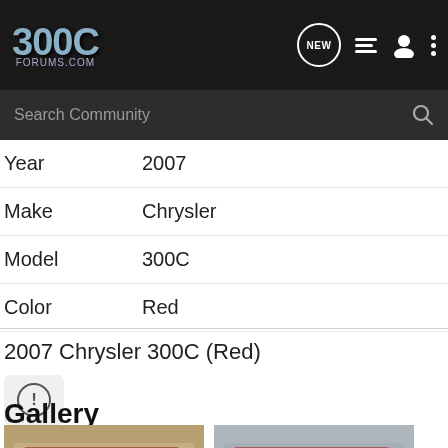300C FORUMS.COM
| Year | 2007 |
| Make | Chrysler |
| Model | 300C |
| Color | Red |
2007 Chrysler 300C (Red)
Gallery
[Figure (photo): Two thumbnail photos of a red 2007 Chrysler 300C in a parking lot]